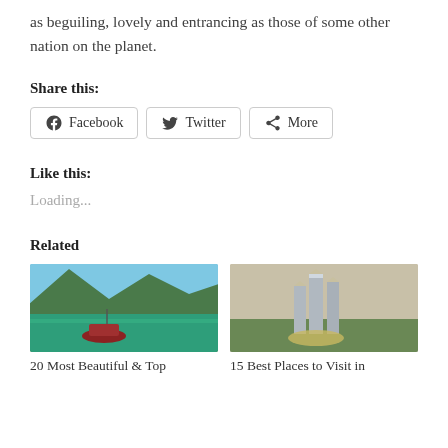as beguiling, lovely and entrancing as those of some other nation on the planet.
Share this:
[Figure (other): Social share buttons: Facebook, Twitter, More]
Like this:
Loading...
Related
[Figure (photo): Photo of a mountain lake with a boat — related article image]
[Figure (photo): Photo of city skyline with tall towers — related article image]
20 Most Beautiful & Top
15 Best Places to Visit in